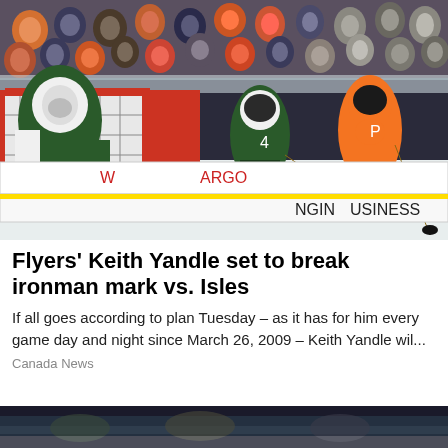[Figure (photo): NHL hockey game photo showing Philadelphia Flyers player in orange jersey competing near the goal against Dallas Stars goalie in green/white uniform and a Stars defenseman wearing number 4. Rinkside boards show partial 'ARGO' (Wells Fargo) and 'NGING USINESS' (Bringing Business) advertisement text. Arena crowd visible in background.]
Flyers' Keith Yandle set to break ironman mark vs. Isles
If all goes according to plan Tuesday – as it has for him every game day and night since March 26, 2009 – Keith Yandle wil...
Canada News
[Figure (photo): Partial bottom strip of another hockey game photo, dark/blurry, showing players on ice.]